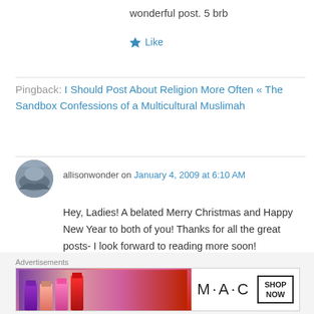wonderful post. 5 brb
Like
Pingback: I Should Post About Religion More Often « The Sandbox Confessions of a Multicultural Muslimah
allisonwonder on January 4, 2009 at 6:10 AM
Hey, Ladies! A belated Merry Christmas and Happy New Year to both of you! Thanks for all the great posts- I look forward to reading more soon!
Advertisements